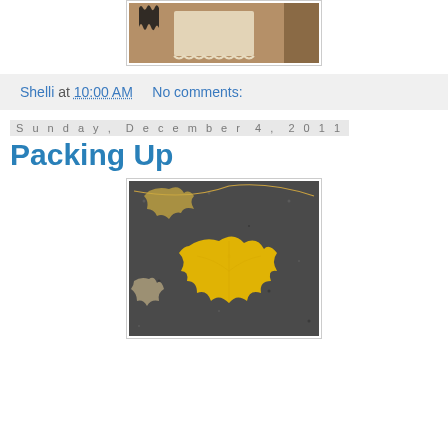[Figure (photo): Partial top photo showing what appears to be a vintage or craft item on a brownish background, partially cropped at top of page]
Shelli at 10:00 AM    No comments:
Sunday, December 4, 2011
Packing Up
[Figure (photo): Photo of yellow autumn/fall maple leaves lying on dark asphalt pavement]